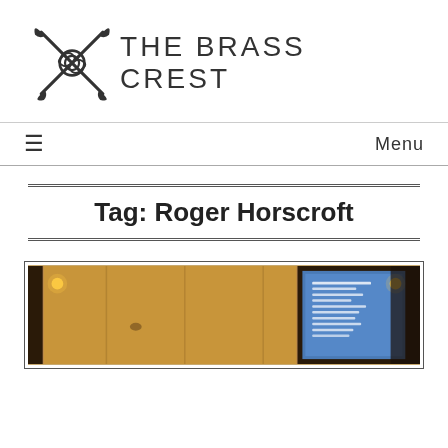[Figure (logo): The Brass Crest logo with crossed trumpets and the text 'THE BRASS CREST']
Menu
Tag: Roger Horscroft
[Figure (photo): Interior room photo showing wooden paneling and a blue projection screen with text on the right side]